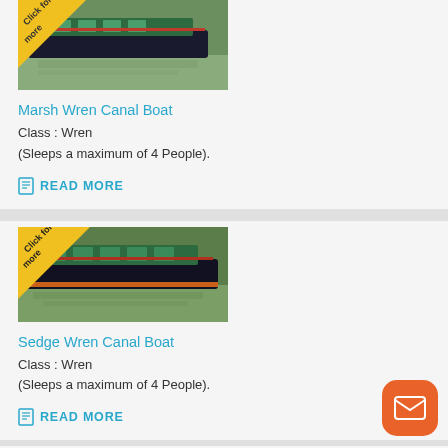[Figure (photo): Canal boat named Marsh Wren on water with trees in background, with yellow 'Click for more' corner badge]
Marsh Wren Canal Boat
Class : Wren
(Sleeps a maximum of 4 People).
READ MORE
[Figure (photo): Canal boat named Sedge Wren on water with trees in background, with yellow 'Click for more' corner badge]
Sedge Wren Canal Boat
Class : Wren
(Sleeps a maximum of 4 People).
READ MORE
[Figure (photo): Partial view of third canal boat card at bottom]